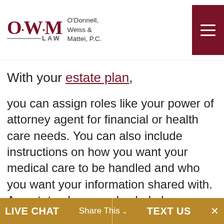[Figure (logo): O.W.M Law - O'Donnell, Weiss & Mattei, P.C. logo with dark red lettering and hamburger menu button]
With your estate plan,
you can assign roles like your power of attorney agent for financial or health care needs. You can also include instructions on how you want your medical care to be handled and who you want your information shared with. An estate plan can also help bypass probate if the titles are set up appropriately. So, if you do pass away unexpectedly and have a will that dictates how to pass on your assets, any beneficiaries will be able to get
LIVE CHAT   Share This   TEXT US   ×